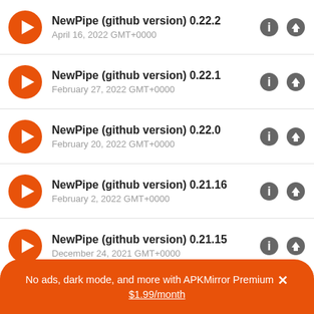NewPipe (github version) 0.22.2 — April 16, 2022 GMT+0000
NewPipe (github version) 0.22.1 — February 27, 2022 GMT+0000
NewPipe (github version) 0.22.0 — February 20, 2022 GMT+0000
NewPipe (github version) 0.21.16 — February 2, 2022 GMT+0000
NewPipe (github version) 0.21.15 — December 24, 2021 GMT+0000
NewPipe (github version) 0.21.14 — December 12, 2021 GMT+0000
No ads, dark mode, and more with APKMirror Premium × $1.99/month